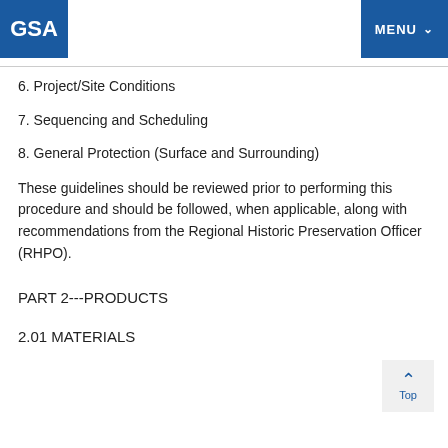GSA | MENU
6. Project/Site Conditions
7. Sequencing and Scheduling
8. General Protection (Surface and Surrounding)
These guidelines should be reviewed prior to performing this procedure and should be followed, when applicable, along with recommendations from the Regional Historic Preservation Officer (RHPO).
PART 2---PRODUCTS
2.01 MATERIALS